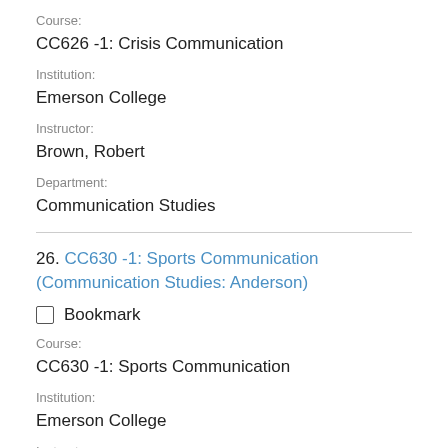Course:
CC626 -1: Crisis Communication
Institution:
Emerson College
Instructor:
Brown, Robert
Department:
Communication Studies
26. CC630 -1: Sports Communication (Communication Studies: Anderson)
Bookmark
Course:
CC630 -1: Sports Communication
Institution:
Emerson College
Instructor:
Anderson, Lauren
Department: